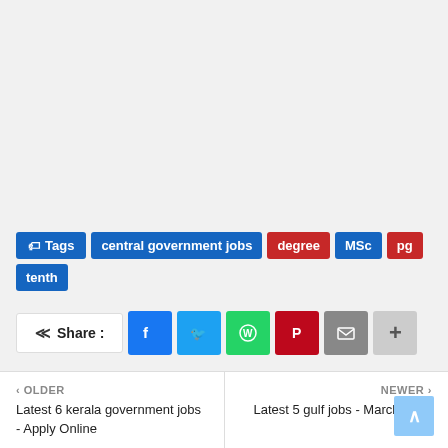Tags: central government jobs | degree | MSc | pg | tenth
Share: Facebook, Twitter, WhatsApp, Pinterest, Email, More
< OLDER
Latest 6 kerala government jobs - Apply Online
NEWER >
Latest 5 gulf jobs - March 2022